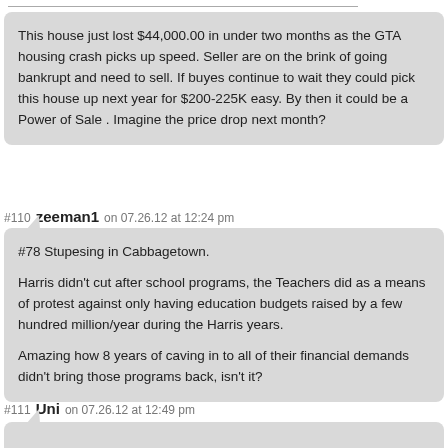This house just lost $44,000.00 in under two months as the GTA housing crash picks up speed. Seller are on the brink of going bankrupt and need to sell. If buyes continue to wait they could pick this house up next year for $200-225K easy. By then it could be a Power of Sale . Imagine the price drop next month?
#110 zeeman1 on 07.26.12 at 12:24 pm
#78 Stupesing in Cabbagetown.

Harris didn't cut after school programs, the Teachers did as a means of protest against only having education budgets raised by a few hundred million/year during the Harris years.

Amazing how 8 years of caving in to all of their financial demands didn't bring those programs back, isn't it?
#111 Uni on 07.26.12 at 12:49 pm